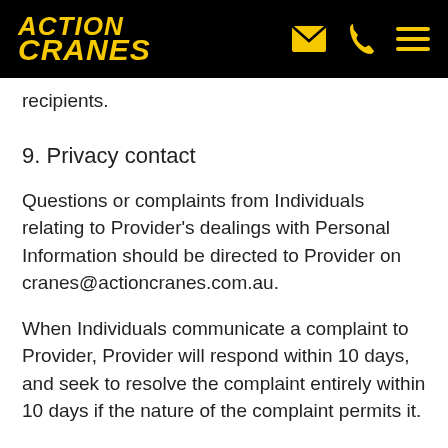ACTION CRANES
recipients.
9. Privacy contact
Questions or complaints from Individuals relating to Provider's dealings with Personal Information should be directed to Provider on cranes@actioncranes.com.au.
When Individuals communicate a complaint to Provider, Provider will respond within 10 days, and seek to resolve the complaint entirely within 10 days if the nature of the complaint permits it.
Provider will make a reasonable effort to